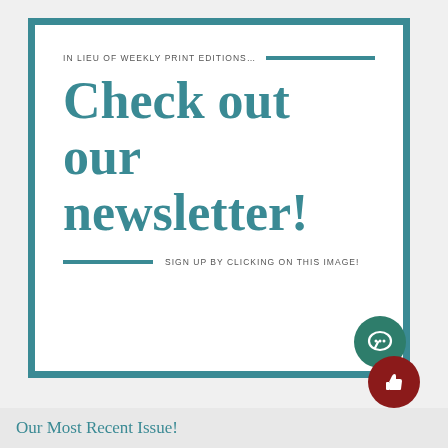[Figure (infographic): Newsletter promotional card with teal border on white background. Top line reads 'IN LIEU OF WEEKLY PRINT EDITIONS...' with a teal horizontal rule. Large bold teal text reads 'Check out our newsletter!' with a teal rule and text 'SIGN UP BY CLICKING ON THIS IMAGE!' below.]
Our Most Recent Issue!